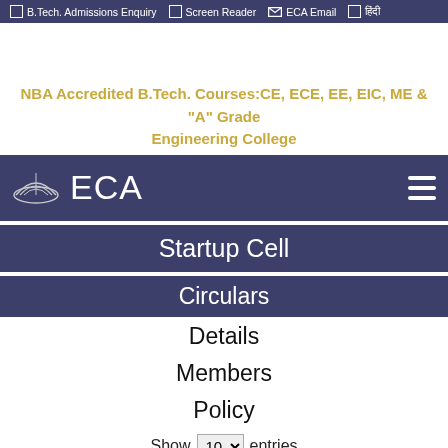B.Tech. Admissions Enquiry  Screen Reader  ECA Email  हिंदी
NBA Accredited B.Tech. Courses:CE, ECE, EE, EIC, ME & "A" Grade Engineering College
[Figure (logo): ECA college logo and navigation bar with hamburger menu]
Startup Cell
Circulars
Details
Members
Policy
Show 10 entries
Search: